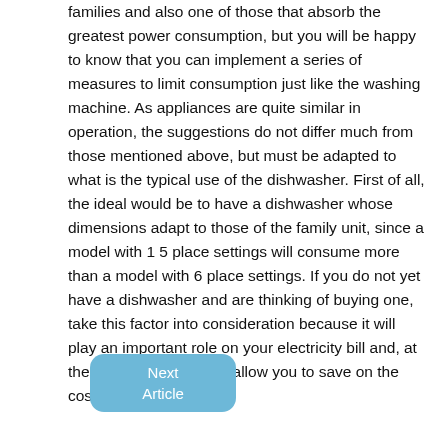families and also one of those that absorb the greatest power consumption, but you will be happy to know that you can implement a series of measures to limit consumption just like the washing machine. As appliances are quite similar in operation, the suggestions do not differ much from those mentioned above, but must be adapted to what is the typical use of the dishwasher. First of all, the ideal would be to have a dishwasher whose dimensions adapt to those of the family unit, since a model with 15 place settings will consume more than a model with 6 place settings. If you do not yet have a dishwasher and are thinking of buying one, take this factor into consideration because it will play an important role on your electricity bill and, at the same time, will also allow you to save on the cost of the appliance.
Next Article
Also in the dishwasher the prewash program has an impact on energy consumption, so our advice is to try to remove the main food particles by hand and use the